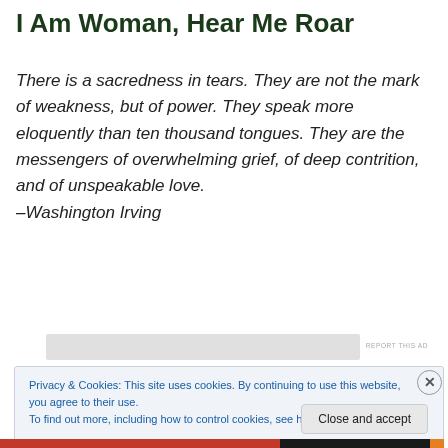I Am Woman, Hear Me Roar
There is a sacredness in tears. They are not the mark of weakness, but of power. They speak more eloquently than ten thousand tongues. They are the messengers of overwhelming grief, of deep contrition, and of unspeakable love.
–Washington Irving
Privacy & Cookies: This site uses cookies. By continuing to use this website, you agree to their use.
To find out more, including how to control cookies, see here: Cookie Policy
Close and accept